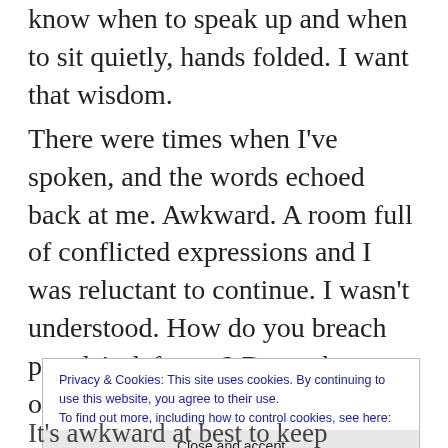know when to speak up and when to sit quietly, hands folded. I want that wisdom.
There were times when I've spoken, and the words echoed back at me. Awkward. A room full of conflicted expressions and I was reluctant to continue. I wasn't understood. How do you breach people's defenses? Do we have an obligation to try?
Privacy & Cookies: This site uses cookies. By continuing to use this website, you agree to their use.
To find out more, including how to control cookies, see here: Cookie Policy
Close and accept
It's awkward at best to keep speaking. Usually,